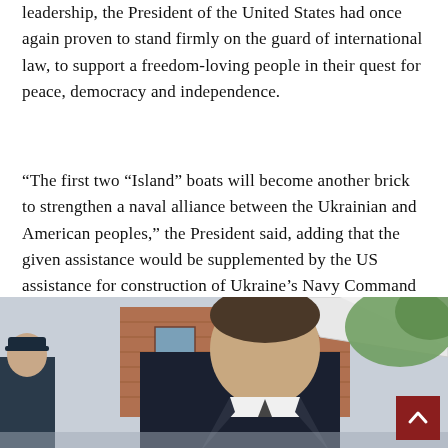leadership, the President of the United States had once again proven to stand firmly on the guard of international law, to support a freedom-loving people in their quest for peace, democracy and independence.
“The first two “Island” boats will become another brick to strengthen a naval alliance between the Ukrainian and American peoples,” the President said, adding that the given assistance would be supplemented by the US assistance for construction of Ukraine’s Navy Command Center in Ochakiv.
[Figure (photo): Outdoor event photo showing a man in a dark suit in the foreground, with a brick building and white tent canopy visible in the background, along with other people.]